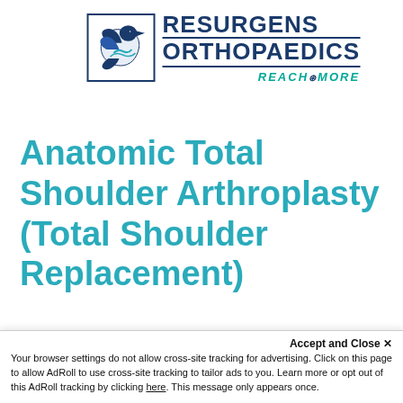[Figure (logo): Resurgens Orthopaedics logo with eagle/bird graphic on left, bold navy text RESURGENS ORTHOPAEDICS on right with teal italic REACH for MORE tagline]
Anatomic Total Shoulder Arthroplasty (Total Shoulder Replacement)
Anatomic total shoulder arthroplasty removes damaged
Accept and Close ×
Your browser settings do not allow cross-site tracking for advertising. Click on this page to allow AdRoll to use cross-site tracking to tailor ads to you. Learn more or opt out of this AdRoll tracking by clicking here. This message only appears once.